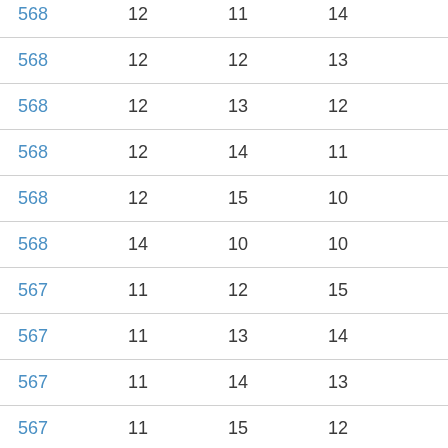| 568 | 12 | 11 | 14 | 82.22 |
| 568 | 12 | 12 | 13 | 82.22 |
| 568 | 12 | 13 | 12 | 82.22 |
| 568 | 12 | 14 | 11 | 82.22 |
| 568 | 12 | 15 | 10 | 82.22 |
| 568 | 14 | 10 | 10 | 75.56 |
| 567 | 11 | 12 | 15 | 84.44 |
| 567 | 11 | 13 | 14 | 84.44 |
| 567 | 11 | 14 | 13 | 84.44 |
| 567 | 11 | 15 | 12 | 84.44 |
| 567 | 12 | 10 | 14 | 80.00 |
| 567 | 12 | 11 | 13 | 80.00 |
| 567 | 13 | 10 | 12 | 77.78 |